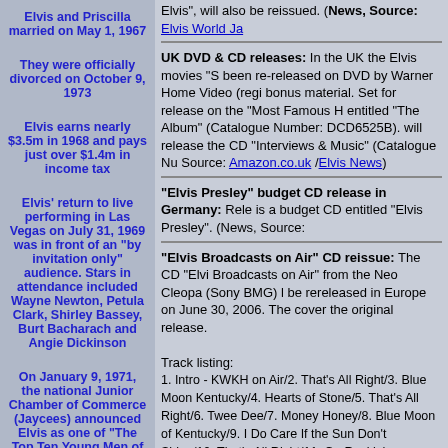Elvis and Priscilla married on May 1, 1967
They were officially divorced on October 9, 1973
Elvis earns nearly $3.5m in 1968 and pays just over $1.4m in income tax
Elvis' return to live performing in Las Vegas on July 31, 1969 was in front of an "by invitation only" audience. Stars in attendance included Wayne Newton, Petula Clark, Shirley Bassey, Burt Bacharach and Angie Dickinson
On January 9, 1971, the national Junior Chamber of Commerce (Jaycees) announced Elvis as one of "The Top Ten Young Men of the Year". Elvis spoke at the official awards ceremony on January 16
"Elvis: Aloha From Hawai" made entertainment history on January 14, 1973, when it
Elvis", will also be reissued. (News, Source: Elvis World Ja
UK DVD & CD releases: In the UK the Elvis movies "S been re-released on DVD by Warner Home Video (regi bonus material. Set for release on the "Most Famous H entitled "The Album" (Catalogue Number: DCD6525B). will release the CD "Interviews & Music" (Catalogue Nu Source: Amazon.co.uk /Elvis News)
"Elvis Presley" budget CD release in Germany: Rele is a budget CD entitled "Elvis Presley". (News, Source:
"Elvis Broadcasts on Air" CD reissue: The CD "Elvi Broadcasts on Air" from the Neo Cleopa (Sony BMG) l be rereleased in Europe on June 30, 2006. The cover the original release.
Track listing:
1. Intro - KWKH on Air/2. That's All Right/3. Blue Moon Kentucky/4. Hearts of Stone/5. That's All Right/6. Twee Dee/7. Money Honey/8. Blue Moon of Kentucky/9. I Do Care If the Sun Don't Shine/10. That's All Right/11. Go Rockin' Tonight/12. I Got a Woman/13. Tweedle Dee 14. I'm Left, You're Right, She's Gone/15. Baby Let's P House/16. Maybellene/17. That's All Right/18. I Was th One/19. Love Me Tender/20. Hound Dog/21. Outro - E Left the Building (News, Source: Amazon.co.uk / Elvis News)